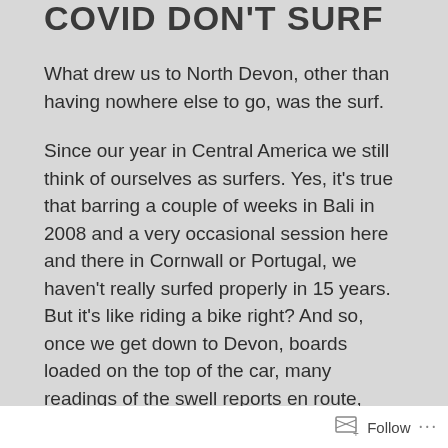COVID DON'T SURF
What drew us to North Devon, other than having nowhere else to go, was the surf.
Since our year in Central America we still think of ourselves as surfers. Yes, it’s true that barring a couple of weeks in Bali in 2008 and a very occasional session here and there in Cornwall or Portugal, we haven’t really surfed properly in 15 years. But it’s like riding a bike right? And so, once we get down to Devon, boards loaded on the top of the car, many readings of the swell reports en route, heated discussions about pressure systems and fin types, we are ready to wind back the clock and dive back into a life on the waves.
A storm system battered the South West on the Friday a
Follow